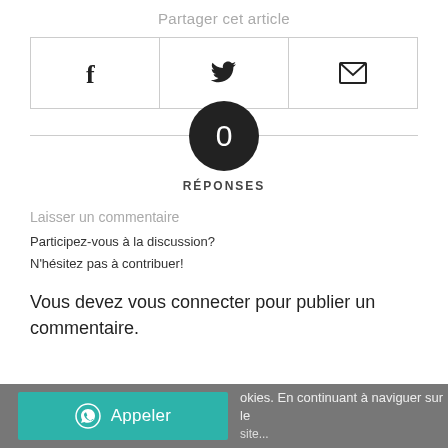Partager cet article
[Figure (infographic): Three share buttons in a bordered row: Facebook (f icon), Twitter (bird icon), Email (envelope icon)]
0
RÉPONSES
Laisser un commentaire
Participez-vous à la discussion?
N'hésitez pas à contribuer!
Vous devez vous connecter pour publier un commentaire.
Appeler   okies. En continuant à naviguer sur le site...